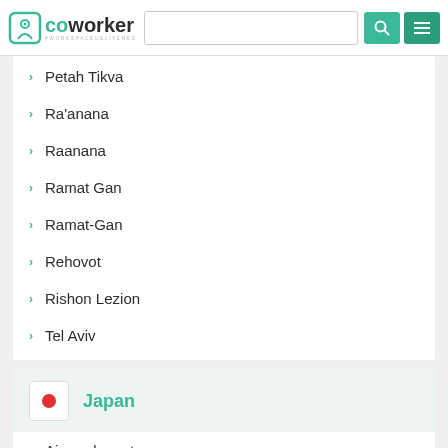coworker — navigation header with search
Petah Tikva
Ra'anana
Raanana
Ramat Gan
Ramat-Gan
Rehovot
Rishon Lezion
Tel Aviv
Japan
Aizuwakamatsu
Akita
Anjyo
Aomori